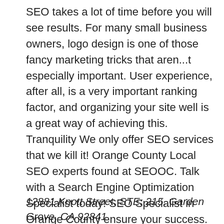SEO takes a lot of time before you will see results. For many small business owners, logo design is one of those fancy marketing tricks that aren...t especially important. User experience, after all, is a very important ranking factor, and organizing your site well is a great way of achieving this. Tranquility We only offer SEO services that we kill it! Orange County Local SEO experts found at SEOOC. Talk with a Search Engine Optimization Specialist today! SEO Specialist in Orange County ensure your success. Bop Design is frequently featured in the Southern California & National news for their innovative marketing strategies & website designs. Read more.. SEO Orange County
12881 Knott Street. STE: 215, Garden Grove, CA 92841